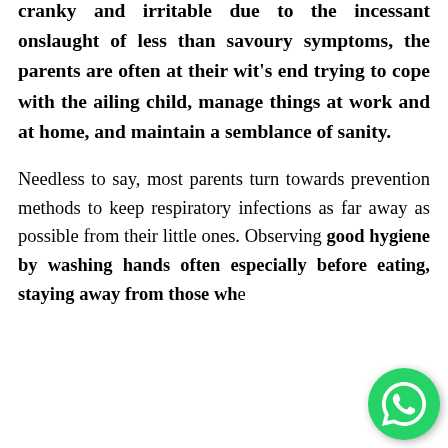breaks loose at home. While the child becomes cranky and irritable due to the incessant onslaught of less than savoury symptoms, the parents are often at their wit's end trying to cope with the ailing child, manage things at work and at home, and maintain a semblance of sanity.
Needless to say, most parents turn towards prevention methods to keep respiratory infections as far away as possible from their little ones. Observing good hygiene by washing hands often especially before eating, staying away from those who are sick, and this children also are vaccinated